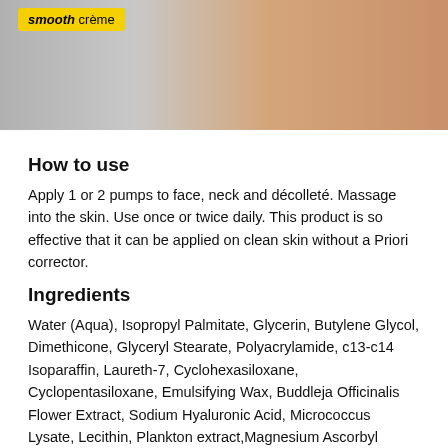[Figure (photo): Partial product image showing a cream/skincare product with a yellow label badge reading 'smooth creme', with skin visible in the background]
How to use
Apply 1 or 2 pumps to face, neck and décolleté. Massage into the skin. Use once or twice daily. This product is so effective that it can be applied on clean skin without a Priori corrector.
Ingredients
Water (Aqua), Isopropyl Palmitate, Glycerin, Butylene Glycol, Dimethicone, Glyceryl Stearate, Polyacrylamide, c13-c14 Isoparaffin, Laureth-7, Cyclohexasiloxane, Cyclopentasiloxane, Emulsifying Wax, Buddleja Officinalis Flower Extract, Sodium Hyaluronic Acid, Micrococcus Lysate, Lecithin, Plankton extract,Magnesium Ascorbyl Phosphate, Tocopherol, Arabidopsis Thaliana Extract, PEG-100 Stearate, Phenoxyethanol, Acrylates/c10-30 Alkyl Acrylate copolymer, Ethylhexylglycerin, Xanthan Gum.